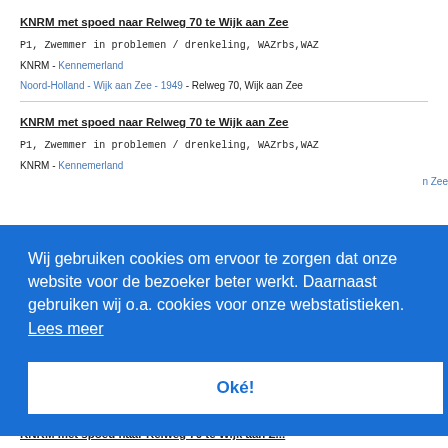KNRM met spoed naar Relweg 70 te Wijk aan Zee
P1, Zwemmer in problemen / drenkeling, WAZrbs,WAZ
KNRM - Kennemerland
Noord-Holland - Wijk aan Zee - 1949 - Relweg 70, Wijk aan Zee
KNRM met spoed naar Relweg 70 te Wijk aan Zee
P1, Zwemmer in problemen / drenkeling, WAZrbs,WAZ
KNRM - Kennemerland
n Zee
Wij gebruiken cookies om ervoor te zorgen dat onze website voor de bezoeker beter werkt. Daarnaast gebruiken wij o.a. cookies voor onze webstatistieken. Lees meer
Oké!
n Zee
ust 2022
KNRM met spoed naar Relweg 70 te Wijk aan Z...